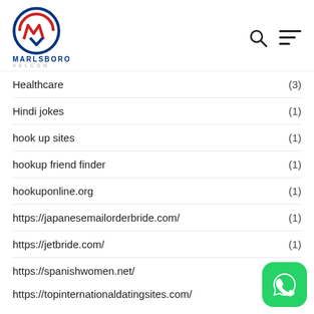[Figure (logo): Marlsboro Velcon logo with circular red and blue emblem, company name MARLSBORO in blue and VELCON in grey]
Healthcare (3)
Hindi jokes (1)
hook up sites (1)
hookup friend finder (1)
hookuponline.org (1)
https://japanesemailorderbride.com/ (1)
https://jetbride.com/ (1)
https://spanishwomen.net/
https://topinternationaldatingsites.com/ (1)
[Figure (logo): WhatsApp green bubble icon]